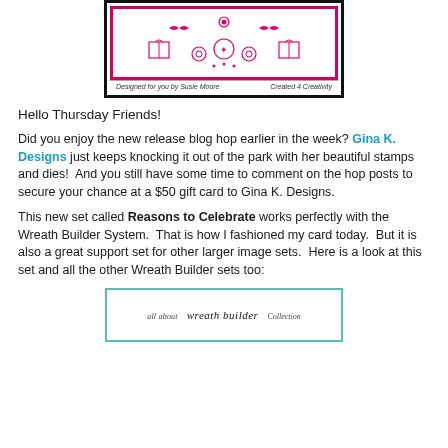[Figure (photo): Top portion of a handmade card with pink/hot pink stamp designs on white background, black border, with caption 'Designed for you by Susie Moore  Created 4 Creativity']
Designed for you by Susie Moore    Created 4 Creativity
Hello Thursday Friends!
Did you enjoy the new release blog hop earlier in the week? Gina K. Designs just keeps knocking it out of the park with her beautiful stamps and dies!  And you still have some time to comment on the hop posts to secure your chance at a $50 gift card to Gina K. Designs.
This new set called Reasons to Celebrate works perfectly with the Wreath Builder System.  That is how I fashioned my card today.  But it is also a great support set for other larger image sets.  Here is a look at this set and all the other Wreath Builder sets too:
[Figure (photo): Bottom portion showing a card with teal/turquoise border, cursive handwriting style text partially visible]